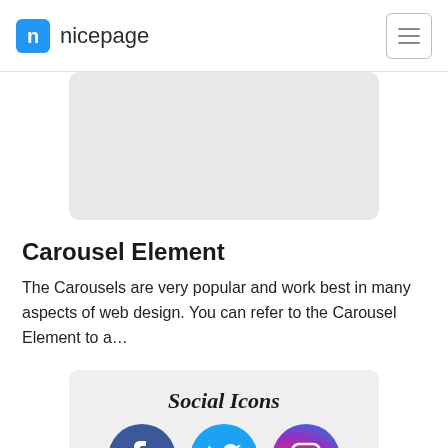nicepage
[Figure (other): Gray rounded rectangle placeholder image for carousel element]
Carousel Element
The Carousels are very popular and work best in many aspects of web design. You can refer to the Carousel Element to a…
[Figure (screenshot): Social Icons widget preview showing Facebook, Twitter, and Instagram icons with bold serif title 'Social Icons']